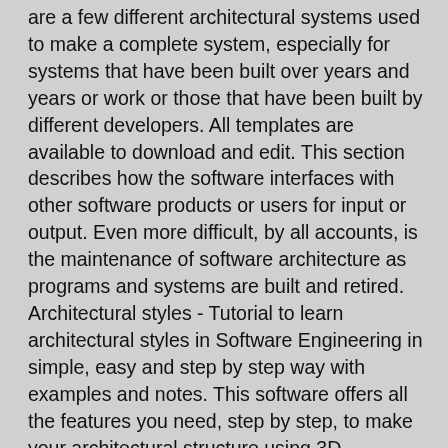are a few different architectural systems used to make a complete system, especially for systems that have been built over years and years or work or those that have been built by different developers. All templates are available to download and edit. This section describes how the software interfaces with other software products or users for input or output. Even more difficult, by all accounts, is the maintenance of software architecture as programs and systems are built and retired. Architectural styles - Tutorial to learn architectural styles in Software Engineering in simple, easy and step by step way with examples and notes. This software offers all the features you need, step by step, to make your architectural structure using 3D modeling: Precision drawings, creative and site modeling, algorithmic designs, everything can be done using this 3D program. Eine Softwarearchitektur ist einer der Architekturtypen in der Informatik und beschreibt die grundlegenden Komponenten und deren Zusammenspiel innerhalb eines Softwaresystems. Software Architecture Document. Click the picture to get access to the download link. The best software architecture examples are readily available online. It defines a structured solutionto meet all the technical and operational requirements, while